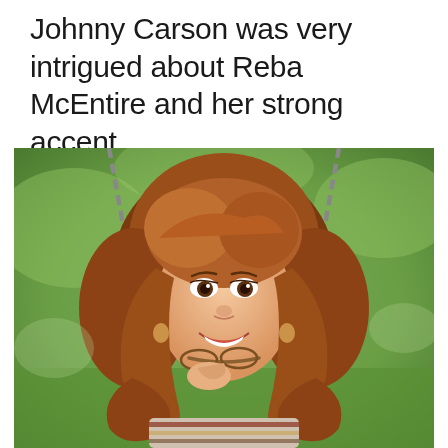Johnny Carson was very intrigued about Reba McEntire and her strong accent
[Figure (photo): A woman with voluminous auburn/red curly hair sitting on a swing, smiling and holding sunglasses, wearing a striped top, photographed outdoors with a green blurred background.]